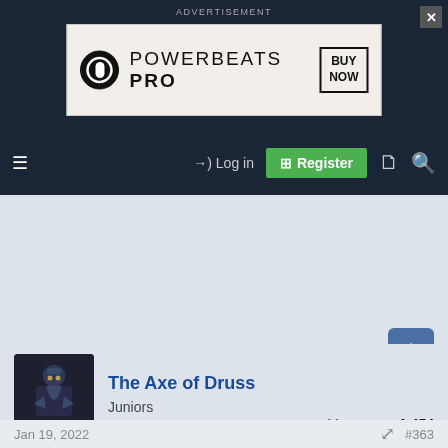ADVERTISEMENT
[Figure (illustration): Powerbeats Pro advertisement banner with Beats logo, text POWERBEATS PRO, and BUY NOW button]
[Figure (screenshot): Navigation bar with hamburger menu, Log in link, Register button in green, document icon, and search icon]
[Figure (photo): User avatar showing a warrior/soldier character in dark blue tones]
The Axe of Druss
Juniors
Messages: 1,454
Jan 19, 2022
#363